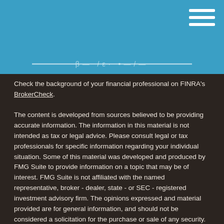[Figure (other): Blue header bar with hamburger menu icon (three white horizontal lines) in top right corner, and partial logo/text graphic partially visible at bottom of header]
Check the background of your financial professional on FINRA's BrokerCheck.
The content is developed from sources believed to be providing accurate information. The information in this material is not intended as tax or legal advice. Please consult legal or tax professionals for specific information regarding your individual situation. Some of this material was developed and produced by FMG Suite to provide information on a topic that may be of interest. FMG Suite is not affiliated with the named representative, broker - dealer, state - or SEC - registered investment advisory firm. The opinions expressed and material provided are for general information, and should not be considered a solicitation for the purchase or sale of any security.
We take protecting your data and privacy very seriously. As of January 1, 2020 the California Consumer Privacy Act (CCPA) suggests the following link as an extra measure to safeguard your